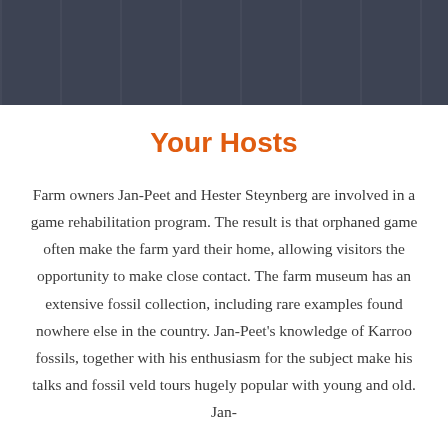[Figure (photo): Dark gray header image with vertical panel/column texture pattern]
Your Hosts
Farm owners Jan-Peet and Hester Steynberg are involved in a game rehabilitation program. The result is that orphaned game often make the farm yard their home, allowing visitors the opportunity to make close contact. The farm museum has an extensive fossil collection, including rare examples found nowhere else in the country. Jan-Peet's knowledge of Karroo fossils, together with his enthusiasm for the subject make his talks and fossil veld tours hugely popular with young and old. Jan-